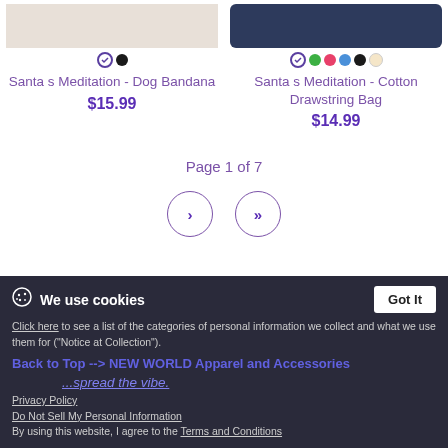[Figure (photo): Product image of Santa s Meditation Dog Bandana (partially cropped at top)]
[Figure (photo): Product image of Santa s Meditation Cotton Drawstring Bag in dark navy (partially cropped at top)]
Santa s Meditation - Dog Bandana
$15.99
Santa s Meditation - Cotton Drawstring Bag
$14.99
Page 1 of 7
We use cookies
Click here to see a list of the categories of personal information we collect and what we use them for ("Notice at Collection").
Back to Top --> NEW WORLD Apparel and Accessories
...spread the vibe.
Privacy Policy
Do Not Sell My Personal Information
By using this website, I agree to the Terms and Conditions